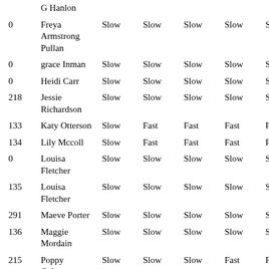|  | G Hanlon |  |  |  |  |  |
| 0 | Freya Armstrong Pullan | Slow | Slow | Slow | Slow | Slow |
| 0 | grace Inman | Slow | Slow | Slow | Slow | Slow |
| 0 | Heidi Carr | Slow | Slow | Slow | Slow | Slow |
| 218 | Jessie Richardson | Slow | Slow | Slow | Slow | Slow |
| 133 | Katy Otterson | Slow | Fast | Fast | Fast | Fast |
| 134 | Lily Mccoll | Slow | Fast | Fast | Fast | Fast |
| 0 | Louisa Fletcher | Slow | Slow | Slow | Slow | Slow |
| 135 | Louisa Fletcher | Slow | Slow | Slow | Slow | Slow |
| 291 | Maeve Porter | Slow | Slow | Slow | Slow | Slow |
| 136 | Maggie Mordain | Slow | Slow | Slow | Slow | Slow |
| 215 | Poppy Coleman | Slow | Slow | Slow | Fast | Fast |